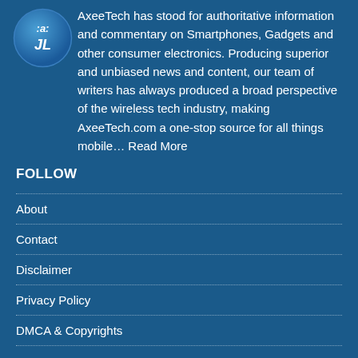[Figure (logo): AxeeTech logo - blue circular icon with stylized letters]
AxeeTech has stood for authoritative information and commentary on Smartphones, Gadgets and other consumer electronics. Producing superior and unbiased news and content, our team of writers has always produced a broad perspective of the wireless tech industry, making AxeeTech.com a one-stop source for all things mobile… Read More
FOLLOW
About
Contact
Disclaimer
Privacy Policy
DMCA & Copyrights
REACH US